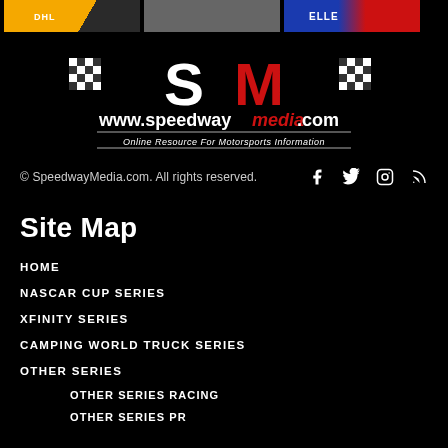[Figure (photo): Three motorsport-related product images side by side at top: left is yellow/gold jersey with DHL branding, center is a grey t-shirt, right is a blue/red jersey with partial text.]
[Figure (logo): SpeedwayMedia.com logo with checkered flag pattern and tagline 'Online Resource For Motorsports Information']
© SpeedwayMedia.com. All rights reserved.
Site Map
HOME
NASCAR CUP SERIES
XFINITY SERIES
CAMPING WORLD TRUCK SERIES
OTHER SERIES
OTHER SERIES RACING
OTHER SERIES PR